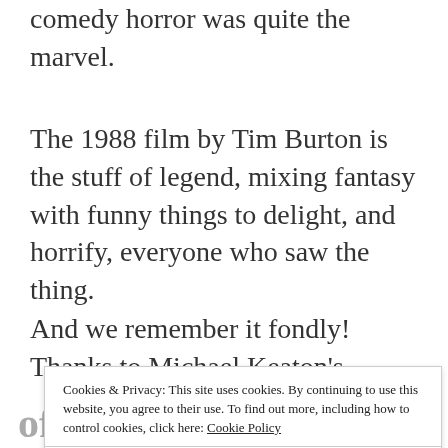comedy horror was quite the marvel.
The 1988 film by Tim Burton is the stuff of legend, mixing fantasy with funny things to delight, and horrify, everyone who saw the thing.
And we remember it fondly! Thanks to Michael Keaton's wacky antics, the dark humour, and some seriously impressive
Cookies & Privacy: This site uses cookies. By continuing to use this website, you agree to their use. To find out more, including how to control cookies, click here: Cookie Policy
Accept & Close
of Innocence and Death